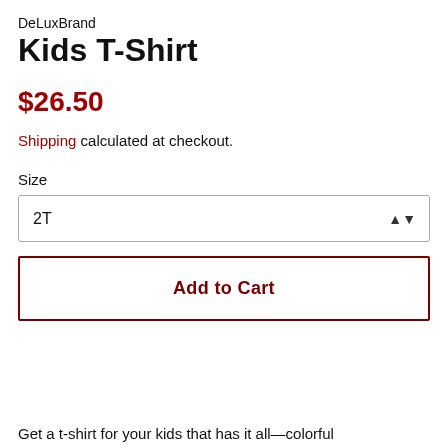DeLuxBrand
Kids T-Shirt
$26.50
Shipping calculated at checkout.
Size
2T
Add to Cart
Get a t-shirt for your kids that has it all—colorful